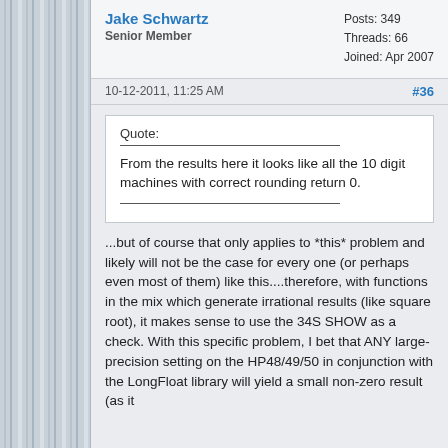Jake Schwartz
Senior Member
Posts: 349
Threads: 66
Joined: Apr 2007
10-12-2011, 11:25 AM
#36
Quote:
From the results here it looks like all the 10 digit machines with correct rounding return 0.
...but of course that only applies to *this* problem and likely will not be the case for every one (or perhaps even most of them) like this....therefore, with functions in the mix which generate irrational results (like square root), it makes sense to use the 34S SHOW as a check. With this specific problem, I bet that ANY large-precision setting on the HP48/49/50 in conjunction with the LongFloat library will yield a small non-zero result (as it